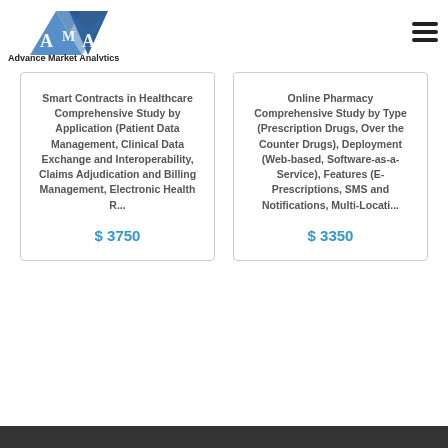[Figure (logo): Advance Market Analytics logo with blue diamond/triangle shape and 'AMA' letters, text 'Advance Market Analytics' below]
Smart Contracts in Healthcare Comprehensive Study by Application (Patient Data Management, Clinical Data Exchange and Interoperability, Claims Adjudication and Billing Management, Electronic Health R...
$ 3750
Online Pharmacy Comprehensive Study by Type (Prescription Drugs, Over the Counter Drugs), Deployment (Web-based, Software-as-a-Service), Features (E-Prescriptions, SMS and Notifications, Multi-Locati...
$ 3350